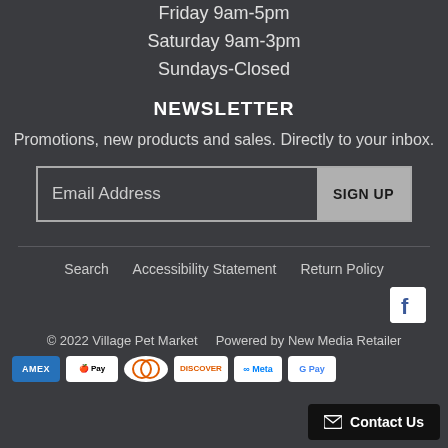Friday 9am-5pm
Saturday 9am-3pm
Sundays-Closed
NEWSLETTER
Promotions, new products and sales. Directly to your inbox.
Email Address    SIGN UP
Search    Accessibility Statement    Return Policy
© 2022 Village Pet Market    Powered by New Media Retailer
Contact Us